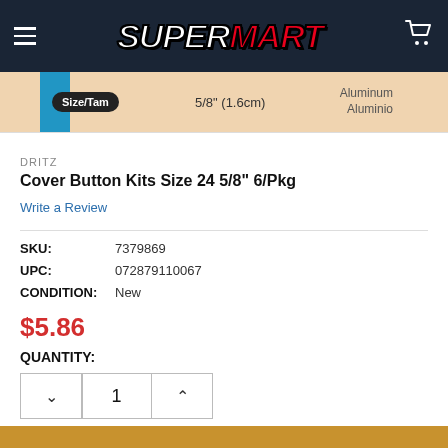[Figure (logo): SuperMart logo with hamburger menu and cart icon on dark navy header]
[Figure (photo): Product image banner showing Size/Tam 5/8 inch (1.6cm), Aluminum/Aluminio label on tan background with blue strip]
DRITZ
Cover Button Kits Size 24 5/8" 6/Pkg
Write a Review
SKU:  7379869
UPC:  072879110067
CONDITION:  New
$5.86
QUANTITY:
1